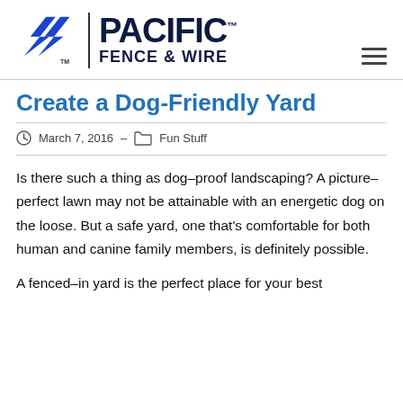[Figure (logo): Pacific Fence & Wire logo with geometric arrow/chevron mark in blue and dark navy text]
Create a Dog-Friendly Yard
March 7, 2016  –  Fun Stuff
Is there such a thing as dog-proof landscaping? A picture-perfect lawn may not be attainable with an energetic dog on the loose. But a safe yard, one that’s comfortable for both human and canine family members, is definitely possible.
A fenced-in yard is the perfect place for your best